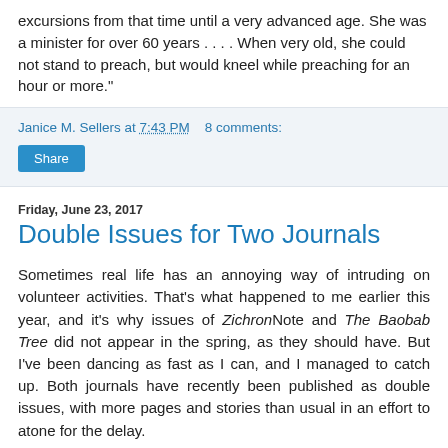excursions from that time until a very advanced age.  She was a minister for over 60 years . . . .  When very old, she could not stand to preach, but would kneel while preaching for an hour or more."
Janice M. Sellers at 7:43 PM    8 comments:
Share
Friday, June 23, 2017
Double Issues for Two Journals
Sometimes real life has an annoying way of intruding on volunteer activities.  That's what happened to me earlier this year, and it's why issues of ZichronNote and The Baobab Tree did not appear in the spring, as they should have.  But I've been dancing as fast as I can, and I managed to catch up.  Both journals have recently been published as double issues, with more pages and stories than usual in an effort to atone for the delay.